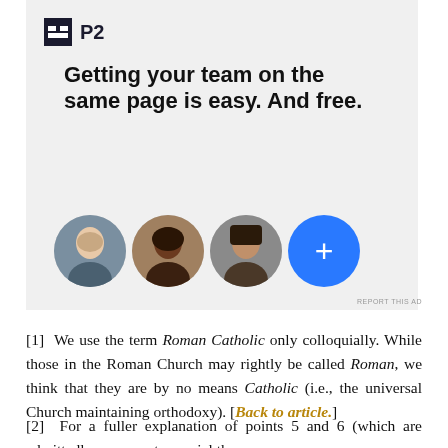[Figure (screenshot): P2 advertisement banner showing logo, headline 'Getting your team on the same page is easy. And free.' and three circular avatar photos plus a blue plus button]
[1]  We use the term Roman Catholic only colloquially. While those in the Roman Church may rightly be called Roman, we think that they are by no means Catholic (i.e., the universal Church maintaining orthodoxy). [Back to article.]
[2]  For a fuller explanation of points 5 and 6 (which are admittedly more controversial than